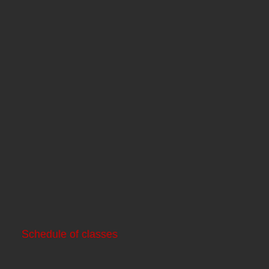Open academic positions
Annual reports and newsletters
UCLA Newsroom
UCLA policies on sexual harassment & violence
Diversity @ UCLA
Academic Resources
Academic calendar
Schedule of classes
MyUCLA
BruinLearn